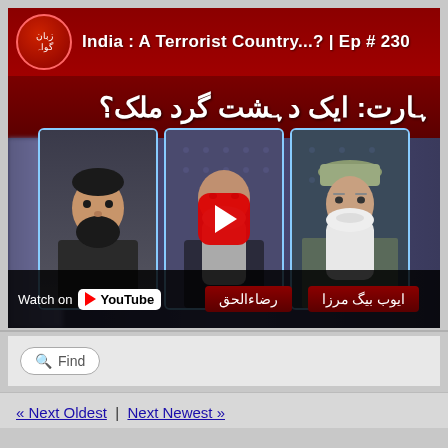[Figure (screenshot): YouTube video thumbnail embedded in a webpage showing a Pakistani TV show titled 'India: A Terrorist Country...? | Ep # 230' with Urdu text, featuring three male panelists, a YouTube play button overlay, and 'Watch on YouTube' button with Urdu name badges.]
Find
« Next Oldest | Next Newest »